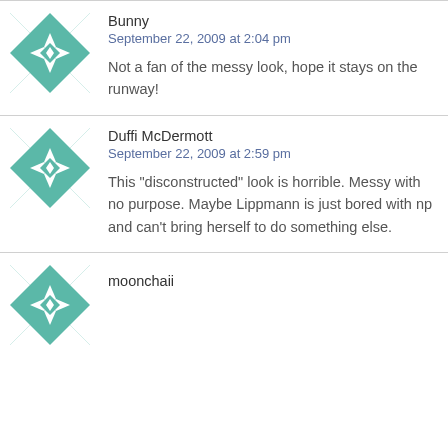[Figure (illustration): Teal and white geometric quilt-pattern avatar for user Bunny]
Bunny
September 22, 2009 at 2:04 pm
Not a fan of the messy look, hope it stays on the runway!
[Figure (illustration): Teal and white geometric quilt-pattern avatar for user Duffi McDermott]
Duffi McDermott
September 22, 2009 at 2:59 pm
This "disconstructed" look is horrible. Messy with no purpose. Maybe Lippmann is just bored with np and can't bring herself to do something else.
[Figure (illustration): Teal and white geometric quilt-pattern avatar for user moonchaii (partially visible)]
moonchaii